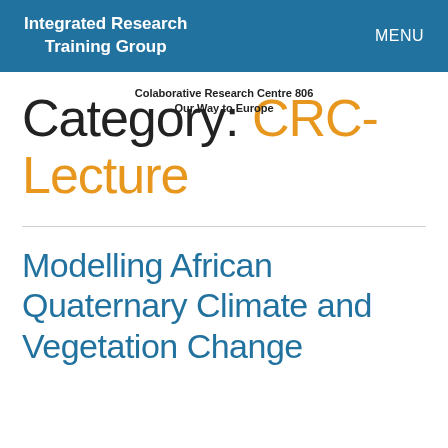Integrated Research Training Group   MENU
Colaborative Research Centre 806
Our Way to Europe
Category: CRC-Lecture
Modelling African Quaternary Climate and Vegetation Change